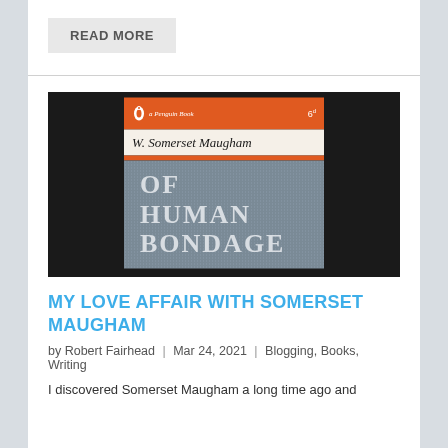READ MORE
[Figure (photo): Photo of a Penguin Books paperback edition of 'Of Human Bondage' by W. Somerset Maugham. The book has an orange top stripe with Penguin logo, white author name section, and a grey textured background with large white title text reading 'OF HUMAN BONDAGE'.]
MY LOVE AFFAIR WITH SOMERSET MAUGHAM
by Robert Fairhead | Mar 24, 2021 | Blogging, Books, Writing
I discovered Somerset Maugham a long time ago and